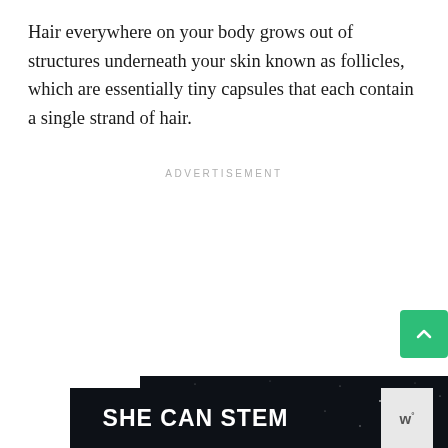Hair everywhere on your body grows out of structures underneath your skin known as follicles, which are essentially tiny capsules that each contain a single strand of hair.
ADVERTISEMENT
[Figure (illustration): Dark navy/black starfield background with a line-art illustration of a mechanical robotic arm or tool, and bold white text at the bottom reading 'SHE CAN STEM'. A watermark 'w°' appears in the bottom right corner.]